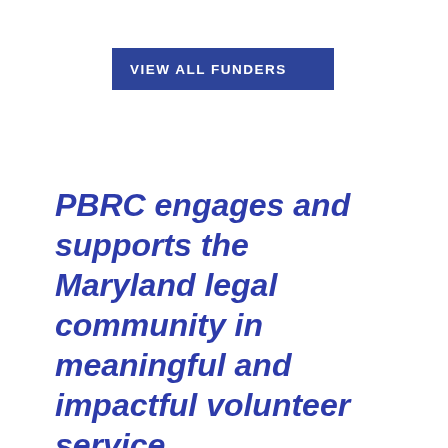VIEW ALL FUNDERS
PBRC engages and supports the Maryland legal community in meaningful and impactful volunteer service